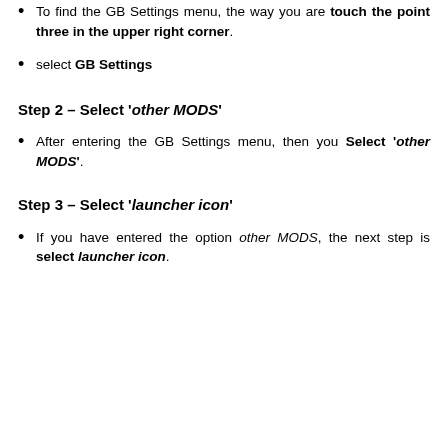To find the GB Settings menu, the way you are touch the point three in the upper right corner.
select GB Settings
Step 2 – Select 'other MODS'
After entering the GB Settings menu, then you Select 'other MODS'.
Step 3 – Select 'launcher icon'
If you have entered the option other MODS, the next step is select launcher icon.